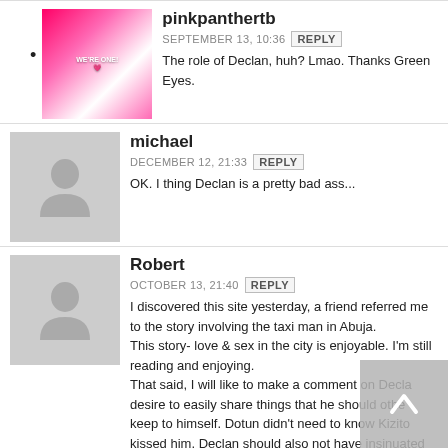pinkpanthertb — SEPTEMBER 13, 10:36 — REPLY
The role of Declan, huh? Lmao. Thanks Green Eyes.
michael — DECEMBER 12, 21:33 — REPLY
OK. I thing Declan is a pretty bad ass...
Robert — OCTOBER 13, 21:40 — REPLY
I discovered this site yesterday, a friend referred me to the story involving the taxi man in Abuja.
This story- love & sex in the city is enjoyable. I'm still reading and enjoying.
That said, I will like to make a comment on Declan's desire to easily share things that he should otherwise keep to himself. Dotun didn't need to know Kizito kissed him, Declan should also not have insinuated albeit jokingly that Kizito might as well be gay to Mahmud.